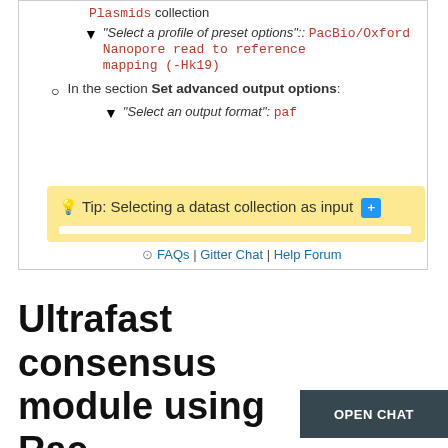Plasmids collection
"Select a profile of preset options":: PacBio/Oxford Nanopore read to reference mapping (-Hk19)
In the section Set advanced output options:
"Select an output format": paf
Tip: Selecting a datast collection as input [+]
FAQs | Gitter Chat | Help Forum
Ultrafast consensus module using Rac